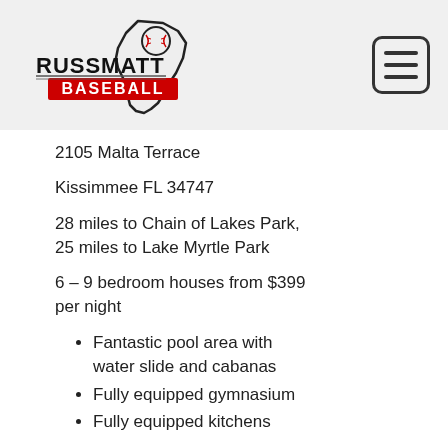[Figure (logo): RussMatt Baseball logo with Florida state outline and baseball, black text RUSSMATT with red BASEBALL banner below]
2105 Malta Terrace
Kissimmee FL 34747
28 miles to Chain of Lakes Park, 25 miles to Lake Myrtle Park
6 – 9 bedroom houses from $399 per night
Fantastic pool area with water slide and cabanas
Fully equipped gymnasium
Fully equipped kitchens